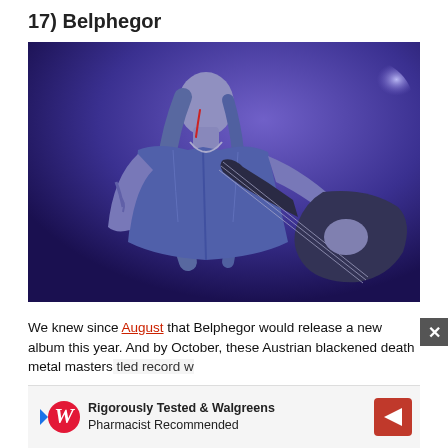17) Belphegor
[Figure (photo): A metal guitarist performing on stage under blue/purple stage lighting, wearing a leather vest, with long hair, covered in stage makeup or paint, playing an electric guitar. Dark atmospheric concert photo.]
We knew since August that Belphegor would release a new album this year. And by October, these Austrian blackened death metal masters... tled record w...
[Figure (other): Walgreens advertisement overlay: 'Rigorously Tested & Walgreens Pharmacist Recommended' with Walgreens logo and a navigation arrow icon.]